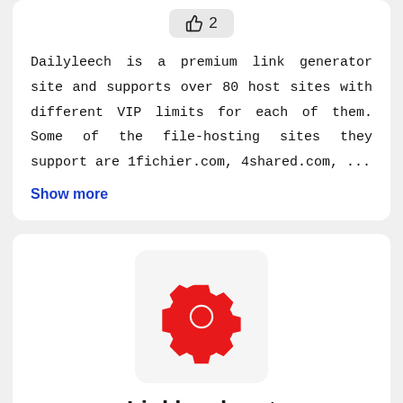[Figure (infographic): Thumbs up icon with number 2 like count button]
Dailyleech is a premium link generator site and supports over 80 host sites with different VIP limits for each of them. Some of the file-hosting sites they support are 1fichier.com, 4shared.com, ...
Show more
[Figure (logo): Red gear/cog icon on light grey rounded square background]
Linkleech.net